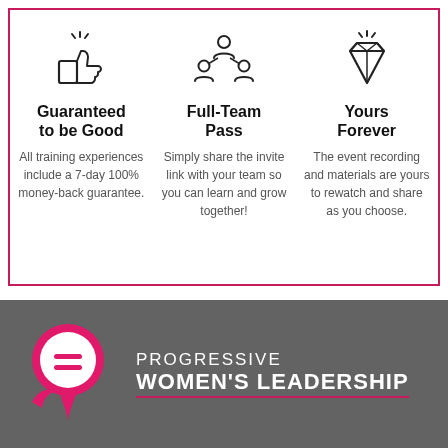[Figure (infographic): Three-column feature box with pink border. Column 1: thumbs-up icon, 'Guaranteed to be Good', text about 7-day money-back guarantee. Column 2: team/people icon, 'Full-Team Pass', text about sharing invite link. Column 3: diamond icon, 'Yours Forever', text about event recording and materials.]
[Figure (logo): Progressive Women's Leadership logo on dark gray background — pink speech bubble / location pin shape with equals sign, and text 'PROGRESSIVE WOMEN'S LEADERSHIP']